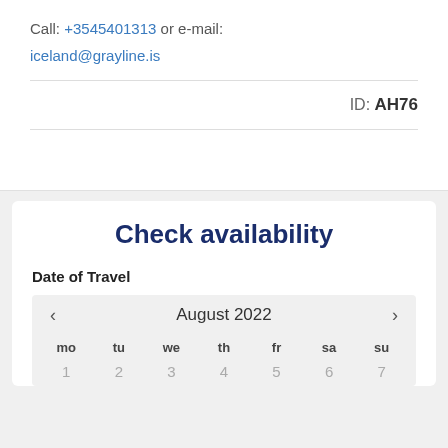Call: +3545401313 or e-mail:
iceland@grayline.is
ID: AH76
Check availability
Date of Travel
August 2022
| mo | tu | we | th | fr | sa | su |
| --- | --- | --- | --- | --- | --- | --- |
| 1 | 2 | 3 | 4 | 5 | 6 | 7 |